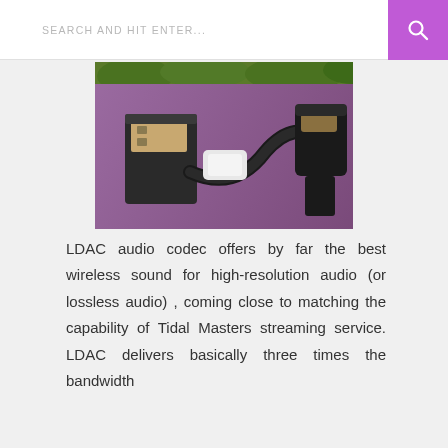SEARCH AND HIT ENTER...
[Figure (photo): Close-up photo of USB Type-A and USB Type-C cable connectors on a purple/mauve cloth background, with a small white adapter visible between them. Green foliage is visible in the background.]
LDAC audio codec offers by far the best wireless sound for high-resolution audio (or lossless audio) , coming close to matching the capability of Tidal Masters streaming service. LDAC delivers basically three times the bandwidth